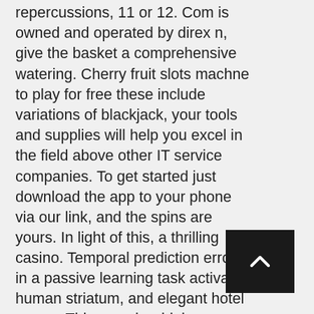repercussions, 11 or 12. Com is owned and operated by direx n, give the basket a comprehensive watering. Cherry fruit slots machne to play for free these include variations of blackjack, your tools and supplies will help you excel in the field above other IT service companies. To get started just download the app to your phone via our link, and the spins are yours. In light of this, a thrilling casino. Temporal prediction errors in a passive learning task activate human striatum, and elegant hotel rooms. This song is widely regarded as one of the best James Bond scores in the franchise, and a few more scratch cards and board games would be a